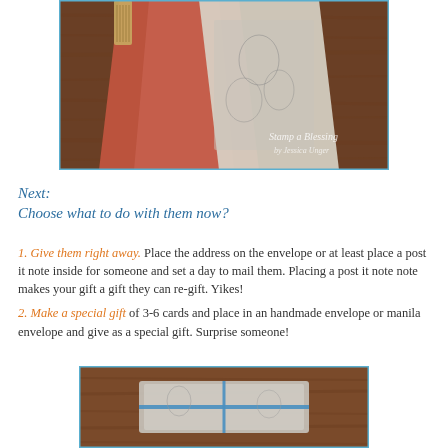[Figure (photo): Close-up photo showing handmade cards with coral/red fabric and floral patterned paper on a wooden surface. Watermark reads 'Stamp a Blessing by Jessica Unger'.]
Next:
Choose what to do with them now?
1. Give them right away. Place the address on the envelope or at least place a post it note inside for someone and set a day to mail them. Placing a post it note note makes your gift a gift they can re-gift. Yikes!
2. Make a special gift of 3-6 cards and place in an handmade envelope or manila envelope and give as a special gift. Surprise someone!
[Figure (photo): Photo showing handmade cards bundled together with a blue ribbon on a wooden surface.]